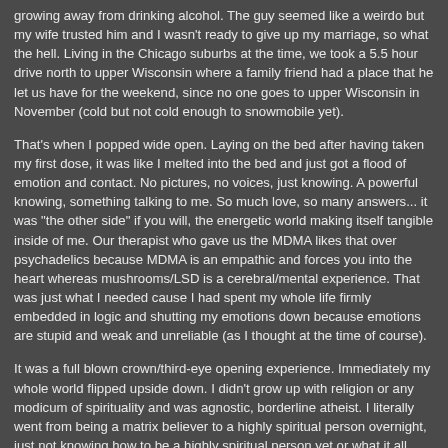growing away from drinking alcohol.  The guy seemed like a weirdo but my wife trusted him and I wasn't ready to give up my marriage, so what the hell.  Living in the Chicago suburbs at the time, we took a 5.5 hour drive north to upper Wisconsin where a family friend had a place that he let us have for the weekend, since no one goes to upper Wisconsin in November (cold but not cold enough to snowmobile yet).
That's when I popped wide open.  Laying on the bed after having taken my first dose, it was like I melted into the bed and just got a flood of emotion and contact.  No pictures, no voices, just knowing.  A powerful knowing, something talking to me.  So much love, so many answers... it was "the other side" if you will, the energetic world making itself tangible inside of me.  Our therapist who gave us the MDMA likes that over psychadelics because MDMA is an empathic and forces you into the heart whereas mushrooms/LSD is a cerebral/mental experience.  That was just what I needed cause I had spent my whole life firmly embedded in logic and shutting my emotions down because emotions are stupid and weak and unreliable (as I thought at the time of course).
It was a full blown crown/third-eye opening experience.  Immediately my whole world flipped upside down.  I didn't grow up with religion or any modicum of spirituality and was agnostic, borderline atheist.  I literally went from being a matrix believer to a highly spiritual person overnight, just not knowing how to be a highly spiritual person yet or what it all entails.  Haha.  I went from not being sure about there being a god to knowing with every fiber of my being that god (I prefer "source" or "universal consciousness") is very real and very everything.  My perspective completely changed and then people thought I was nuts now, which was kinda fun. I had my troubles navigating it all because I am such a strong left-brained person